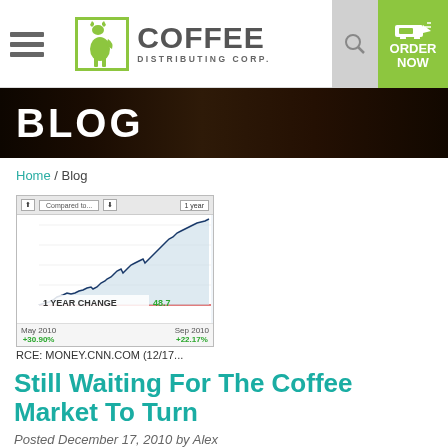[Figure (logo): Coffee Distributing Corp. logo with green deer silhouette icon and green bordered box]
[Figure (screenshot): Stock chart from money.cnn.com showing 1 year coffee market performance. Labels show May 2010 +30.90%, Sep 2010 +22.17%, 1 YEAR CHANGE 48.7x. Source: MONEY.CNN.COM (12/17...)]
Still Waiting For The Coffee Market To Turn
Posted December 17, 2010 by Alex